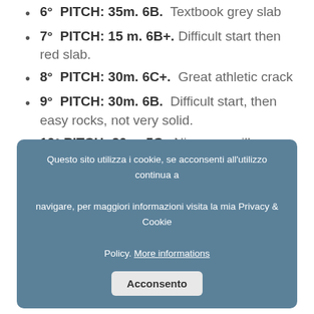6° PITCH: 35m. 6B. Textbook grey slab
7° PITCH: 15 m. 6B+. Difficult start then red slab.
8° PITCH: 30m. 6C+. Great athletic crack
9° PITCH: 30m. 6B. Difficult start, then easy rocks, not very solid.
10° PITCH: 20m. 5C. Nice grey pillar.
Questo sito utilizza i cookie, se acconsenti all'utilizzo continua a navigare, per maggiori informazioni visita la mia Privacy & Cookie Policy. More informations Acconsento